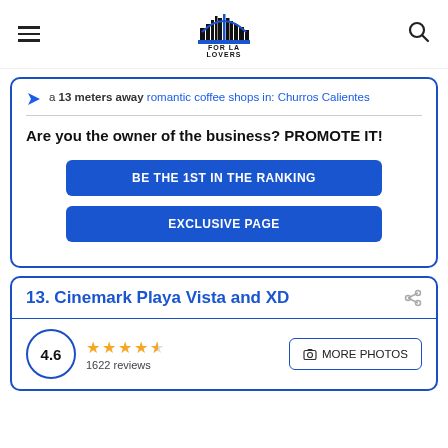[Figure (logo): For LA Lovers logo with city skyline icon and text]
a 13 meters away romantic coffee shops in: Churros Calientes
Are you the owner of the business? PROMOTE IT!
BE THE 1ST IN THE RANKING
EXCLUSIVE PAGE
13. Cinemark Playa Vista and XD
4.6  1622 reviews  MORE PHOTOS